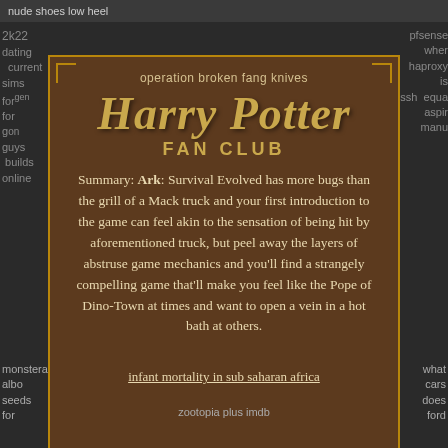nude shoes low heel
2k22 dating current sims for gen for guys on builds online
pfsense wher haproxy is ssh equa aspir manu
operation broken fang knives
Harry Potter FAN CLUB
Summary: Ark: Survival Evolved has more bugs than the grill of a Mack truck and your first introduction to the game can feel akin to the sensation of being hit by aforementioned truck, but peel away the layers of abstruse game mechanics and you'll find a strangely compelling game that'll make you feel like the Pope of Dino-Town at times and want to open a vein in a hot bath at others.
infant mortality in sub saharan africa
monstera albo seeds for
zootopia plus imdb
what cars does ford